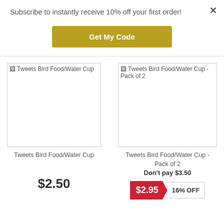Subscribe to instantly receive 10% off your first order!
Get My Code
[Figure (other): Broken image placeholder for Tweets Bird Food/Water Cup]
Tweets Bird Food/Water Cup
[Figure (other): Broken image placeholder for Tweets Bird Food/Water Cup - Pack of 2]
Tweets Bird Food/Water Cup - Pack of 2
Tweets Bird Food/Water Cup
$2.50
Tweets Bird Food/Water Cup - Pack of 2
Don't pay $3.50
$2.95
16% OFF